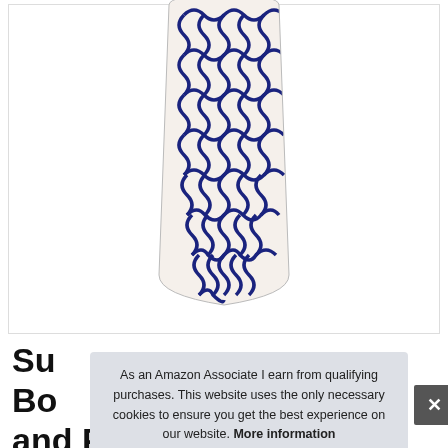[Figure (photo): An ironing board cover with a white background and navy blue lattice/quatrefoil pattern, shown vertically.]
Su Bo and Pad, Multi Color Lattice, Thick
As an Amazon Associate I earn from qualifying purchases. This website uses the only necessary cookies to ensure you get the best experience on our website. More information